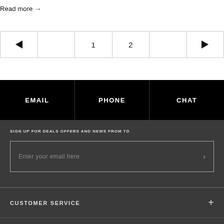Read more →
[Figure (other): Pagination controls with left arrow, page 1, page 2, and right arrow]
| EMAIL | PHONE | CHAT |
| --- | --- | --- |
SIGN UP FOR DEALS OFFERS AND NEWS FROM TD
Enter your email here
CUSTOMER SERVICE